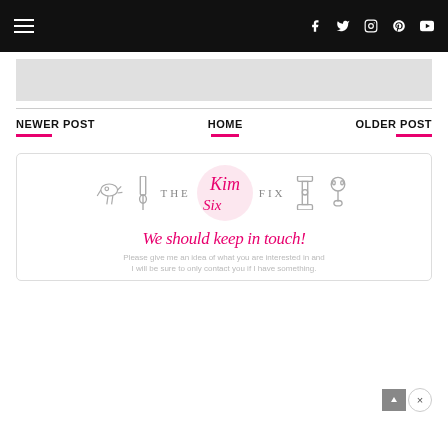Navigation bar with hamburger menu and social icons (Facebook, Twitter, Instagram, Pinterest, YouTube)
[Figure (other): Gray advertisement banner placeholder]
NEWER POST
HOME
OLDER POST
[Figure (logo): The Kim Six Fix logo with craft tool icons, cursive Kim Six script in pink circle, and tagline 'We should keep in touch!' in pink cursive]
Please give me an idea of what you are interested in and I will be sure to only contact you if I have something.